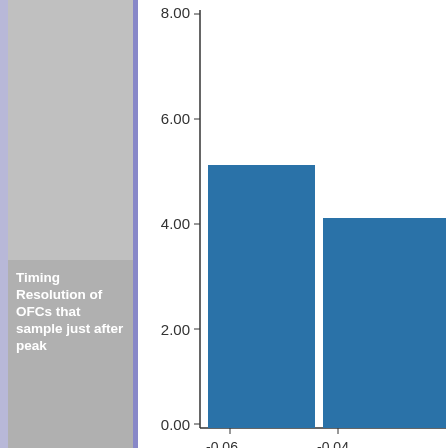[Figure (histogram): Partial histogram showing bars near x=-0.06 (height~5) and x=-0.04 (height~4), y-axis 0.00 to 8.00]
Timing Resolution of OFCs that sample just after peak
-- Daniel Williams - 2019-10-03
Comments